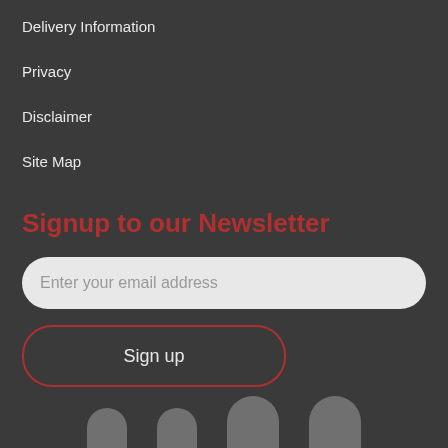Delivery Information
Privacy
Disclaimer
Site Map
Signup to our Newsletter
Enter your email address
Sign up